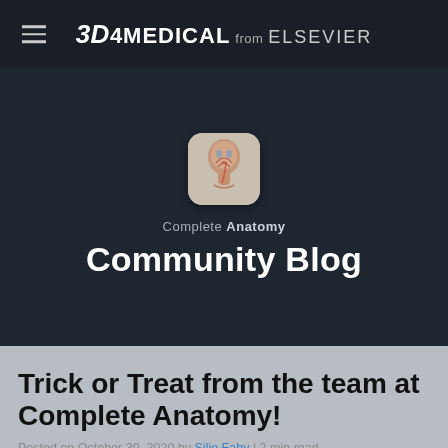3D4MEDICAL from ELSEVIER
[Figure (logo): 3D4Medical from Elsevier logo with hamburger menu icon]
[Figure (illustration): Complete Anatomy app icon showing a 3D human head/neck anatomy model]
Complete Anatomy
Community Blog
Trick or Treat from the team at Complete Anatomy!
Posted on October 30, 2020 by Silje Fahy | 2 min read
[Figure (infographic): Info icon circle with letter i]
3D4Medical uses cookies to enhance your user
Have a truly frightful